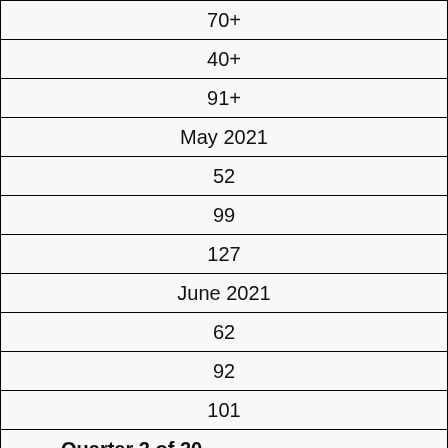| 70+ |
| 40+ |
| 91+ |
| May 2021 |
| 52 |
| 99 |
| 127 |
| June 2021 |
| 62 |
| 92 |
| 101 |
| Quarter 2 of 20… |
| 184+ |